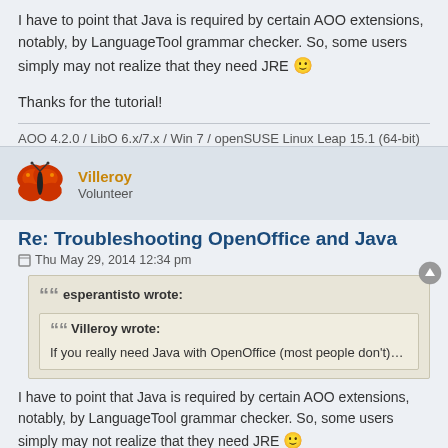I have to point that Java is required by certain AOO extensions, notably, by LanguageTool grammar checker. So, some users simply may not realize that they need JRE 🙂
Thanks for the tutorial!
AOO 4.2.0 / LibO 6.x/7.x / Win 7 / openSUSE Linux Leap 15.1 (64-bit)
Villeroy
Volunteer
Re: Troubleshooting OpenOffice and Java
Thu May 29, 2014 12:34 pm
esperantisto wrote:
Villeroy wrote:
If you really need Java with OpenOffice (most people don't)…
I have to point that Java is required by certain AOO extensions, notably, by LanguageTool grammar checker. So, some users simply may not realize that they need JRE 🙂